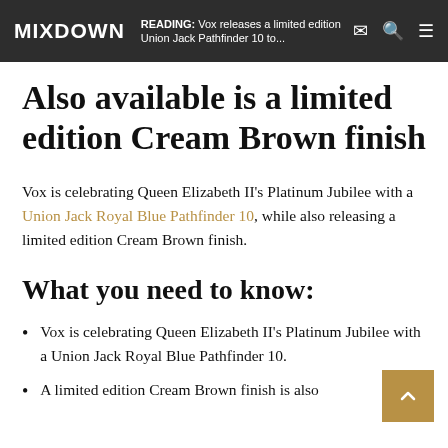MIXDOWN | READING: Vox releases a limited edition Union Jack Pathfinder 10 to...
Also available is a limited edition Cream Brown finish
Vox is celebrating Queen Elizabeth II's Platinum Jubilee with a Union Jack Royal Blue Pathfinder 10, while also releasing a limited edition Cream Brown finish.
What you need to know:
Vox is celebrating Queen Elizabeth II's Platinum Jubilee with a Union Jack Royal Blue Pathfinder 10.
A limited edition Cream Brown finish is also